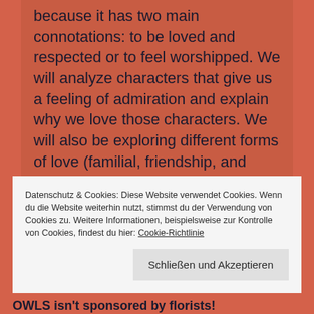because it has two main connotations: to be loved and respected or to feel worshipped. We will analyze characters that give us a feeling of admiration and explain why we love those characters. We will also be exploring different forms of love (familial, friendship, and even self-love) and how those types of love influence our lives.

Happy Valentine's Day!
Datenschutz & Cookies: Diese Website verwendet Cookies. Wenn du die Website weiterhin nutzt, stimmst du der Verwendung von Cookies zu. Weitere Informationen, beispielsweise zur Kontrolle von Cookies, findest du hier: Cookie-Richtlinie
Schließen und Akzeptieren
OWLS isn't sponsored by florists!